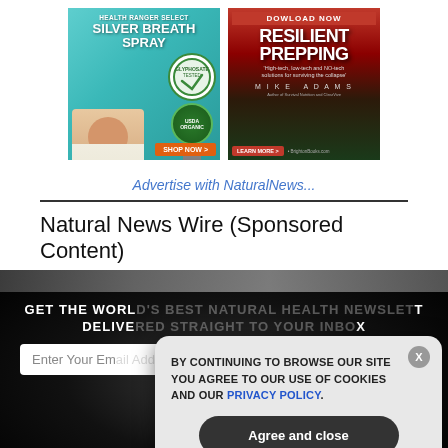[Figure (illustration): Two advertisement banners side by side: Left - Health Ranger Select Silver Breath Spray ad with woman, spray bottle, USDA Organic badge, teal background, Shop Now button. Right - Download Now Resilient Prepping book ad by Mike Adams, dark red/green background, Learn More button.]
Advertise with NaturalNews...
Natural News Wire (Sponsored Content)
[Figure (screenshot): Cookie consent overlay popup on dark background. Text reads: BY CONTINUING TO BROWSE OUR SITE YOU AGREE TO OUR USE OF COOKIES AND OUR PRIVACY POLICY. with an Agree and close button. Behind it: GET THE WORLD'S BEST NATURAL HEALTH NEWSLETTER DELIVERED STRAIGHT TO YOUR INBOX text with email input and SUBSCRIBE button.]